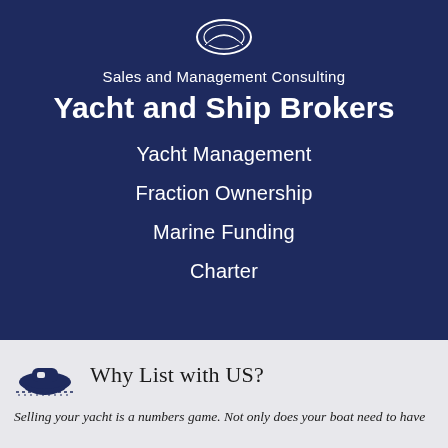[Figure (logo): Circular logo/emblem at top of dark navy section]
Sales and Management Consulting
Yacht and Ship Brokers
Yacht Management
Fraction Ownership
Marine Funding
Charter
Why List with US?
Selling your yacht is a numbers game. Not only does your boat need to have